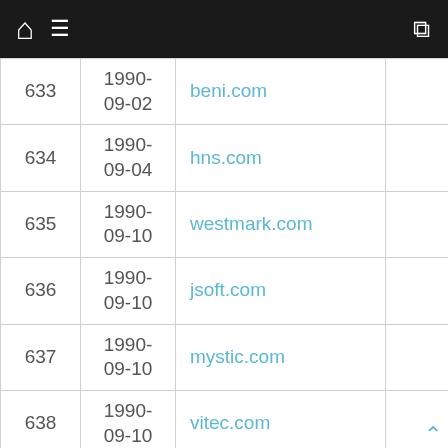Home Menu Shuffle
| # | Date | Domain |  |
| --- | --- | --- | --- |
| 633 | 1990-09-02 | beni.com |  |
| 634 | 1990-09-04 | hns.com |  |
| 635 | 1990-09-10 | westmark.com |  |
| 636 | 1990-09-10 | jsoft.com |  |
| 637 | 1990-09-10 | mystic.com |  |
| 638 | 1990-09-10 | vitec.com |  |
| 639 | 1990- | meso.com |  |